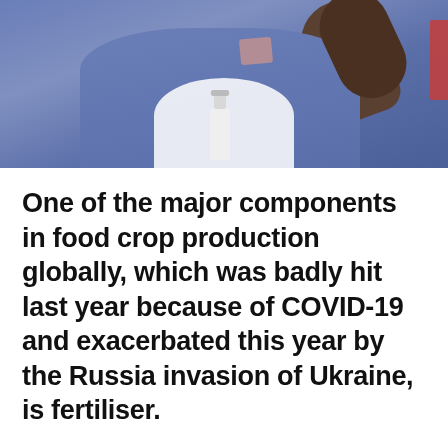[Figure (photo): A person wearing a blue shirt, with a hand sanitizer bottle visible, partially cropped at the top of the page.]
One of the major components in food crop production globally, which was badly hit last year because of COVID-19 and exacerbated this year by the Russia invasion of Ukraine, is fertiliser.
Farmers globally rely heavily on fertilisers to grow their